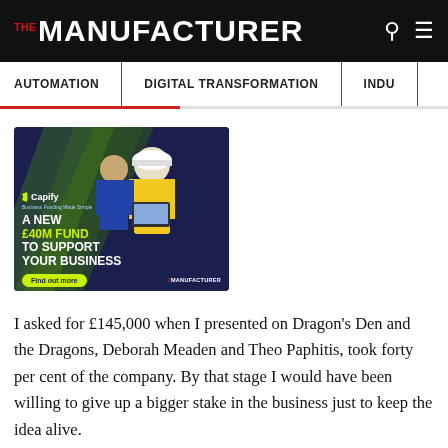THE MANUFACTURER
AUTOMATION | DIGITAL TRANSFORMATION | INDU...
[Figure (illustration): Capify advertisement banner: dark blue background with two workers in high-vis gear. Text reads: Capify — A NEW £40M FUND TO SUPPORT YOUR BUSINESS. Find out more. THE MANUFACTURER.]
I asked for £145,000 when I presented on Dragon's Den and the Dragons, Deborah Meaden and Theo Paphitis, took forty per cent of the company. By that stage I would have been willing to give up a bigger stake in the business just to keep the idea alive.